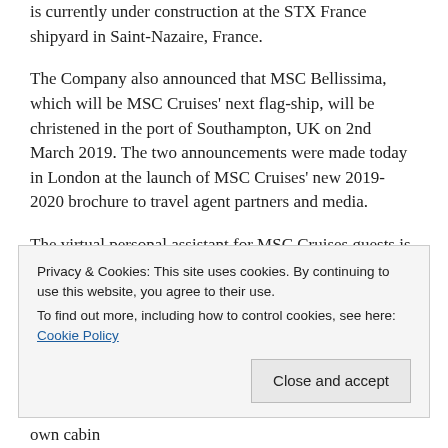is currently under construction at the STX France shipyard in Saint-Nazaire, France.
The Company also announced that MSC Bellissima, which will be MSC Cruises' next flag-ship, will be christened in the port of Southampton, UK on 2nd March 2019. The two announcements were made today in London at the launch of MSC Cruises' new 2019-2020 brochure to travel agent partners and media.
The virtual personal assistant for MSC Cruises guests is a conversational, voice-enabled Artificial Intelligence (AI) innovation that can communicate, learn and intelligently...
Privacy & Cookies: This site uses cookies. By continuing to use this website, you agree to their use.
To find out more, including how to control cookies, see here: Cookie Policy
Close and accept
own cabin